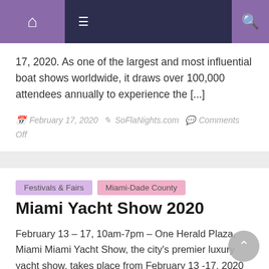Navigation bar with home, menu, and search icons
17, 2020. As one of the largest and most influential boat shows worldwide, it draws over 100,000 attendees annually to experience the [...]
February 17, 2020  SoFlaNights.com  Comments Off
Festivals & Fairs   Miami-Dade County
Miami Yacht Show 2020
February 13 – 17, 10am-7pm – One Herald Plaza, Miami Miami Yacht Show, the city's premier luxury yacht show, takes place from February 13 -17, 2020 in its new location at One Herald Plaza between the Sea Isle Marina and MacArthur causeways. The in-water display